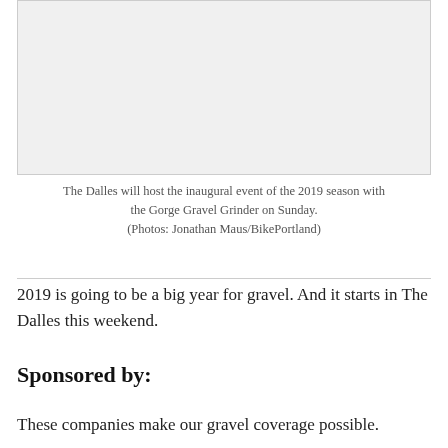[Figure (photo): Photograph placeholder showing a gravel cycling event in The Dalles]
The Dalles will host the inaugural event of the 2019 season with the Gorge Gravel Grinder on Sunday.
(Photos: Jonathan Maus/BikePortland)
2019 is going to be a big year for gravel. And it starts in The Dalles this weekend.
Sponsored by:
These companies make our gravel coverage possible.